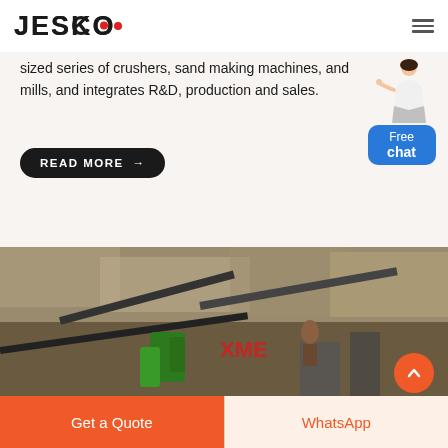JESCO
sized series of crushers, sand making machines, and mills, and integrates R&D, production and sales.
READ MORE →
[Figure (photo): Mining quarry site with conveyor belts and heavy equipment, XME branded machinery visible]
Get a Quote
WhatsApp